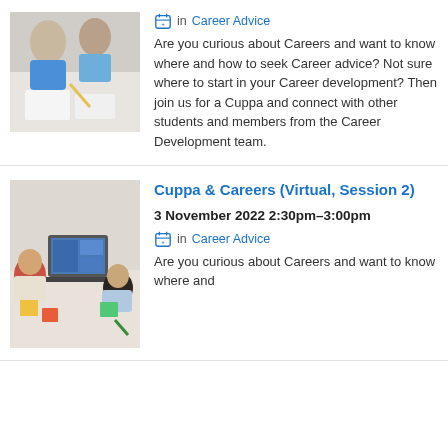[Figure (photo): Students working together, viewed from above, writing/studying]
in Career Advice
Are you curious about Careers and want to know where and how to seek Career advice? Not sure where to start in your Career development? Then join us for a Cuppa and connect with other students and members from the Career Development team.
Cuppa & Careers (Virtual, Session 2)
3 November 2022 2:30pm–3:00pm
in Career Advice
Are you curious about Careers and want to know where and
[Figure (photo): Students in a virtual meeting, laptop visible, people gathered around a table]